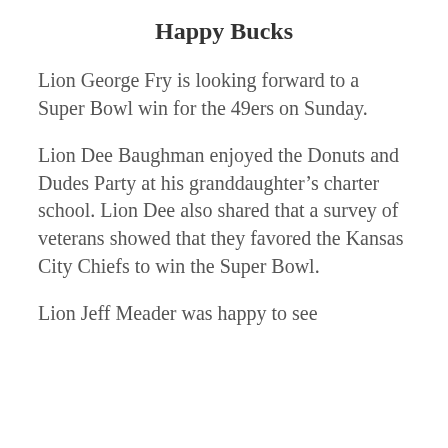Happy Bucks
Lion George Fry is looking forward to a Super Bowl win for the 49ers on Sunday.
Lion Dee Baughman enjoyed the Donuts and Dudes Party at his granddaughter’s charter school. Lion Dee also shared that a survey of veterans showed that they favored the Kansas City Chiefs to win the Super Bowl.
Lion Jeff Meader was happy to see